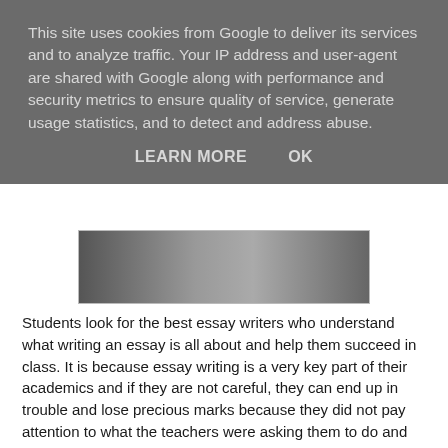This site uses cookies from Google to deliver its services and to analyze traffic. Your IP address and user-agent are shared with Google along with performance and security metrics to ensure quality of service, generate usage statistics, and to detect and address abuse.
LEARN MORE    OK
[Figure (photo): Partial image showing students, cropped at bottom of cookie banner overlay]
Students look for the best essay writers who understand what writing an essay is all about and help them succeed in class. It is because essay writing is a very key part of their academics and if they are not careful, they can end up in trouble and lose precious marks because they did not pay attention to what the teachers were asking them to do and failed to impress them.
It is necessary for students to understand that if they are unable to write a top quality and custom paper on their own, they can seek help from a trained and qualified writer who understands the significance of this task and provides the